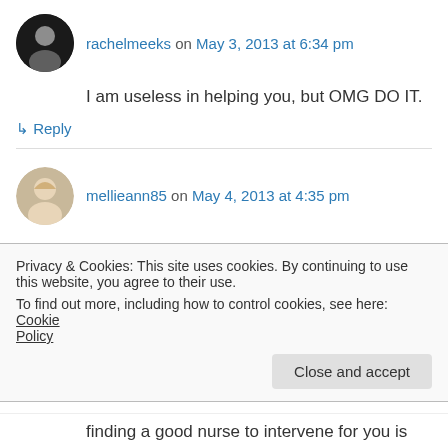rachelmeeks on May 3, 2013 at 6:34 pm
I am useless in helping you, but OMG DO IT.
↳ Reply
mellieann85 on May 4, 2013 at 4:35 pm
I wrote out a history and physical (current problem, symptoms, medical history, any lab work and whatmeds you take, what you want as the plan of care) to send with my grandma for
Privacy & Cookies: This site uses cookies. By continuing to use this website, you agree to their use.
To find out more, including how to control cookies, see here: Cookie Policy
Close and accept
finding a good nurse to intervene for you is